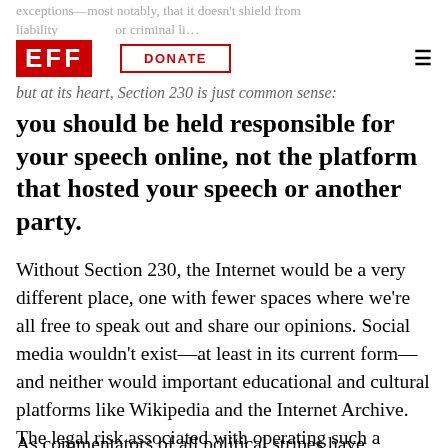EFF | DONATE
exceptions—most notably, that it doesn't shield from liability or criminal liability
but at its heart, Section 230 is just common sense: you should be held responsible for your speech online, not the platform that hosted your speech or another party.
Without Section 230, the Internet would be a very different place, one with fewer spaces where we're all free to speak out and share our opinions. Social media wouldn't exist—at least in its current form—and neither would important educational and cultural platforms like Wikipedia and the Internet Archive. The legal risk associated with operating such a service would deter any entrepreneur from starting one, let alone a nonprofit.
As commentators of all political stripes have